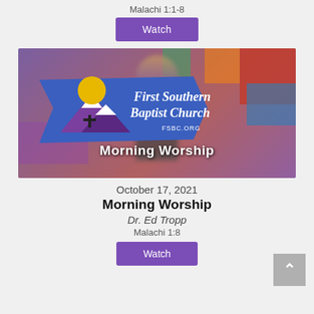Malachi 1:1-8
Watch
[Figure (screenshot): Thumbnail image of First Southern Baptist Church Morning Worship video, showing the church logo banner with mountain/cross illustration and 'First Southern Baptist Church FSBC.ORG' text, overlaid with 'Morning Worship' text, against a blurred stage background.]
October 17, 2021
Morning Worship
Dr. Ed Tropp
Malachi 1:8
Watch